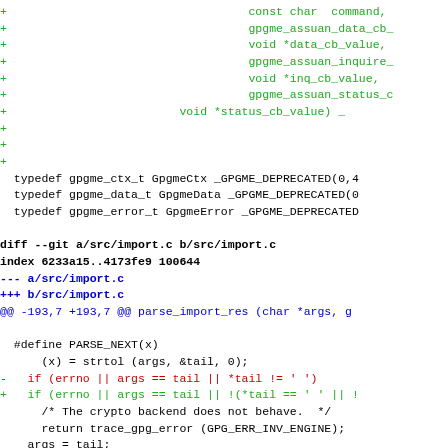[Figure (screenshot): Source code diff showing changes to gpgme library files including gpgme.h and src/import.c, with added lines in green, removed lines in red, and diff headers in blue/bold.]